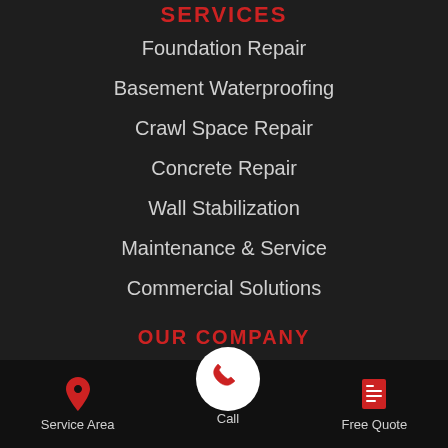SERVICES
Foundation Repair
Basement Waterproofing
Crawl Space Repair
Concrete Repair
Wall Stabilization
Maintenance & Service
Commercial Solutions
OUR COMPANY
Videos
Service Area
About Us
Service Area | [phone] | Free Quote